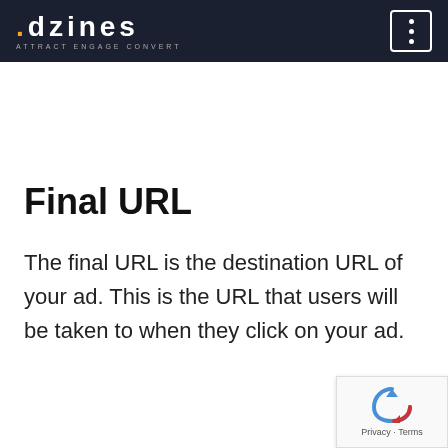.dzines ATTRACT ENGAGE CONVERT
Final URL
The final URL is the destination URL of your ad. This is the URL that users will be taken to when they click on your ad.